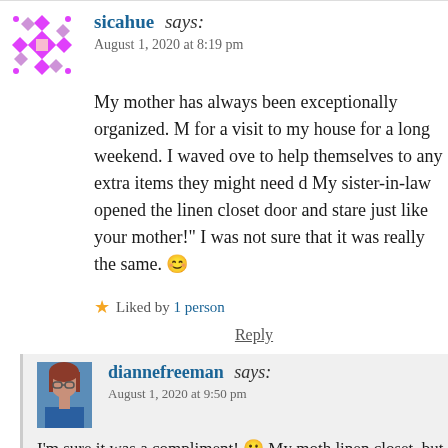sicahue says: August 1, 2020 at 8:19 pm
My mother has always been exceptionally organized. M... for a visit to my house for a long weekend. I waved ove... to help themselves to any extra items they might need d... My sister-in-law opened the linen closet door and stare... just like your mother!" I was not sure that it was really... the same. 😊
Liked by 1 person
Reply
diannefreeman says: August 1, 2020 at 9:50 pm
I'm sure it was a compliment! 🙂 My moth... linen closet, but in my defense, our house...